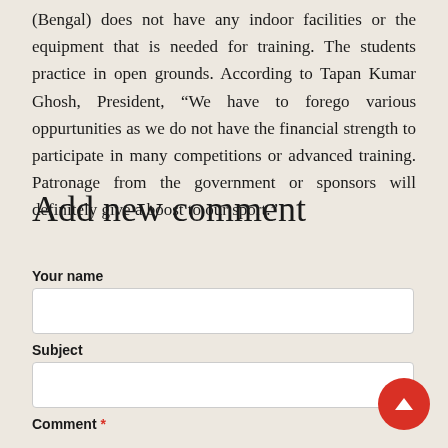(Bengal) does not have any indoor facilities or the equipment that is needed for training. The students practice in open grounds. According to Tapan Kumar Ghosh, President, “We have to forego various oppurtunities as we do not have the financial strength to participate in many competitions or advanced training. Patronage from the government or sponsors will definitely give a boost to our sport.”
Add new comment
Your name
Subject
Comment *